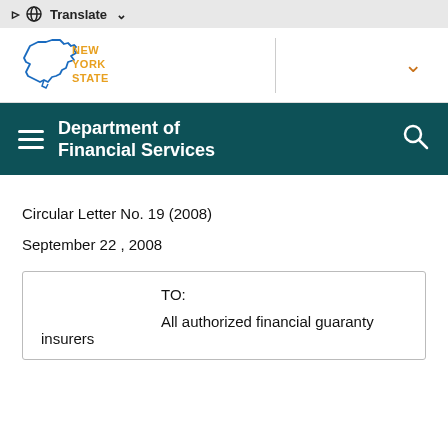Translate
[Figure (logo): New York State logo with outline of NY state in blue and 'NEW YORK STATE' text in orange/yellow]
Department of Financial Services
Circular Letter No. 19 (2008)
September 22 , 2008
| TO: |  |
|  | All authorized financial guaranty insurers |